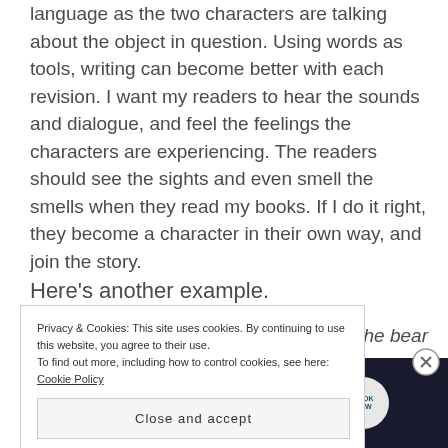language as the two characters are talking about the object in question. Using words as tools, writing can become better with each revision. I want my readers to hear the sounds and dialogue, and feel the feelings the characters are experiencing. The readers should see the sights and even smell the smells when they read my books. If I do it right, they become a character in their own way, and join the story.
Here's another example.
red. The bear
Privacy & Cookies: This site uses cookies. By continuing to use this website, you agree to their use. To find out more, including how to control cookies, see here: Cookie Policy
Close and accept